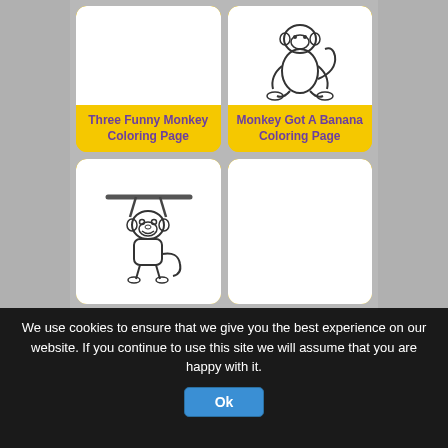[Figure (illustration): Card with white image area (top cut off) and yellow label reading 'Three Funny Monkey Coloring Page' in purple cursive font]
[Figure (illustration): Card showing a monkey squatting/sitting illustration in black outline on white background, with yellow label 'Monkey Got A Banana Coloring Page' in purple cursive font]
[Figure (illustration): Card showing a cartoon monkey hanging from a bar/branch, outlined in black on white background, bottom row left]
[Figure (illustration): Card with white image area (partially visible), bottom row right]
We use cookies to ensure that we give you the best experience on our website. If you continue to use this site we will assume that you are happy with it.
Ok